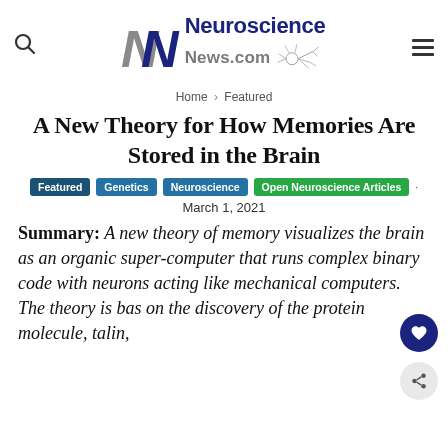[Figure (logo): Neuroscience News.com logo with stylized NN letters and neuron graphic]
Home › Featured
A New Theory for How Memories Are Stored in the Brain
Featured  Genetics  Neuroscience  Open Neuroscience Articles
March 1, 2021
Summary: A new theory of memory visualizes the brain as an organic super-computer that runs complex binary code with neurons acting like mechanical computers. The theory is bas on the discovery of the protein molecule, talin,